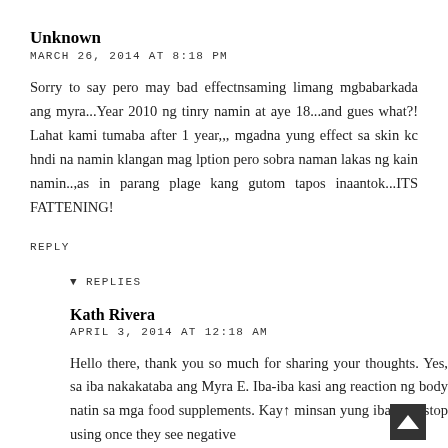Unknown
MARCH 26, 2014 AT 8:18 PM
Sorry to say pero may bad effectnsaming limang mgbabarkada ang myra...Year 2010 ng tinry namin at aye 18...and gues what?! Lahat kami tumaba after 1 year,,, mgadna yung effect sa skin kc hndi na namin klangan mag lption pero sobra naman lakas ng kain namin..,as in parang plage kang gutom tapos inaantok...ITS FATTENING!
REPLY
▾ REPLIES
Kath Rivera
APRIL 3, 2014 AT 12:18 AM
Hello there, thank you so much for sharing your thoughts. Yes, sa iba nakakataba ang Myra E. Iba-iba kasi ang reaction ng body natin sa mga food supplements. Kaya minsan yung iba they stop using once they see negative